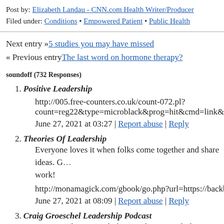Post by: Elizabeth Landau - CNN.com Health Writer/Producer
Filed under: Conditions • Empowered Patient • Public Health
Next entry »5 studies you may have missed
« Previous entryThe last word on hormone therapy?
soundoff (732 Responses)
1. Positive Leadership
http://005.free-counters.co.uk/count-072.pl?count=reg22&type=microblack&prog=hit&cmd=link&url=ba...
June 27, 2021 at 03:27 | Report abuse | Reply
2. Theories Of Leadership
Everyone loves it when folks come together and share ideas. G... work!
http://monamagick.com/gbook/go.php?url=https://backbonele...
June 27, 2021 at 08:09 | Report abuse | Reply
3. Craig Groeschel Leadership Podcast
Great article! We are linking to this particularly great content o...